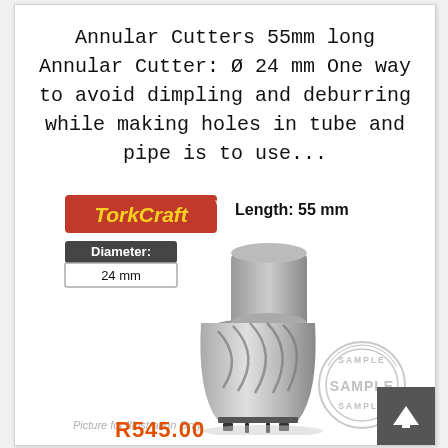Annular Cutters 55mm long Annular Cutter: Ø 24 mm One way to avoid dimpling and deburring while making holes in tube and pipe is to use...
[Figure (photo): Product photo of a TorkCraft annular cutter tool (drill bit), 55mm long, 24mm diameter, shown at an angle. Includes TorkCraft branded red logo, length label '55 mm', diameter label '24 mm', 'Picture for Illustration Only' note, and SAMPLE watermark stamp.]